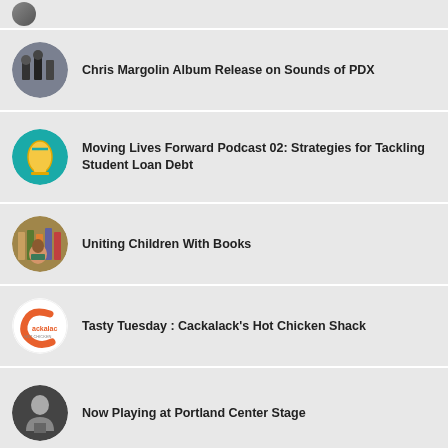Chris Margolin Album Release on Sounds of PDX
Moving Lives Forward Podcast 02: Strategies for Tackling Student Loan Debt
Uniting Children With Books
Tasty Tuesday : Cackalack's Hot Chicken Shack
Now Playing at Portland Center Stage